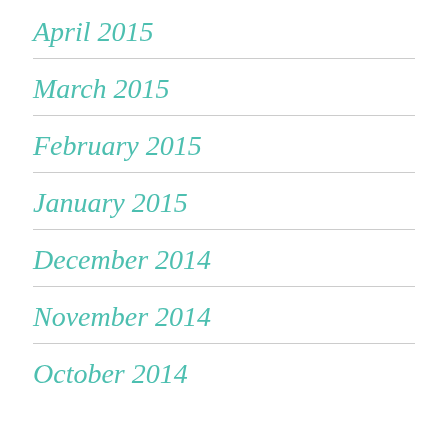April 2015
March 2015
February 2015
January 2015
December 2014
November 2014
October 2014